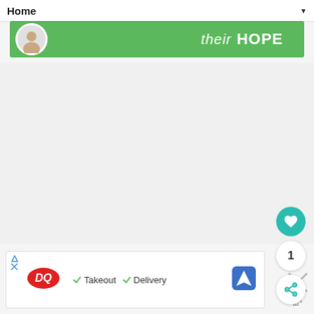Home ▼
[Figure (photo): Green banner with white circle and person holding something, text reading 'their HOPE' in white on green background]
[Figure (screenshot): App UI with floating action buttons: heart (teal), count showing 1, and share button]
[Figure (other): Advertisement bar for Dairy Queen showing DQ logo, checkmarks for Takeout and Delivery, and a map/directions icon. Close buttons (X) visible.]